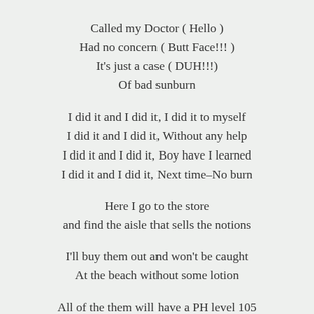Called my Doctor ( Hello )
Had no concern ( Butt Face!!! )
It's just a case ( DUH!!!)
Of bad sunburn
I did it and I did it, I did it to myself
I did it and I did it, Without any help
I did it and I did it, Boy have I learned
I did it and I did it, Next time–No burn
Here I go to the store
and find the aisle that sells the notions
I'll buy them out and won't be caught
At the beach without some lotion
All of the them will have a PH level 105
That way I'll be sure to know
I won't be burned alive